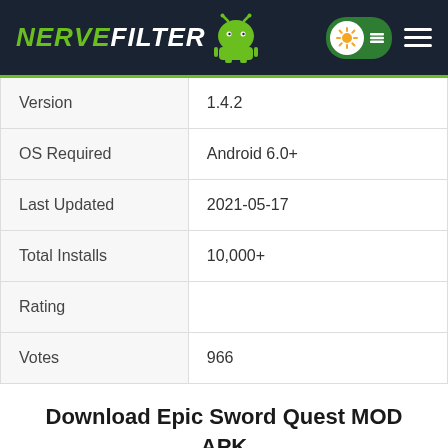NerveFilter
| Property | Value |
| --- | --- |
| Version | 1.4.2 |
| OS Required | Android 6.0+ |
| Last Updated | 2021-05-17 |
| Total Installs | 10,000+ |
| Rating |  |
| Votes | 966 |
Download Epic Sword Quest MOD APK (Unlimited Money)